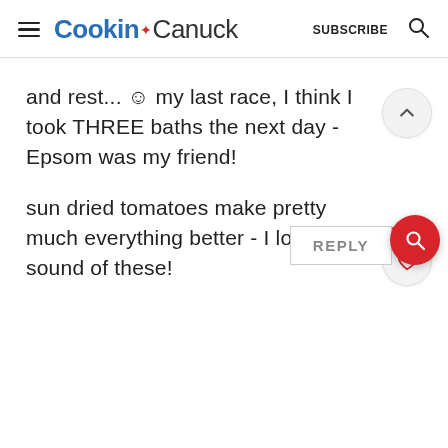Cookin' Canuck — SUBSCRIBE
and rest... ☺ my last race, I think I took THREE baths the next day - Epsom was my friend!
sun dried tomatoes make pretty much everything better - I love the sound of these!